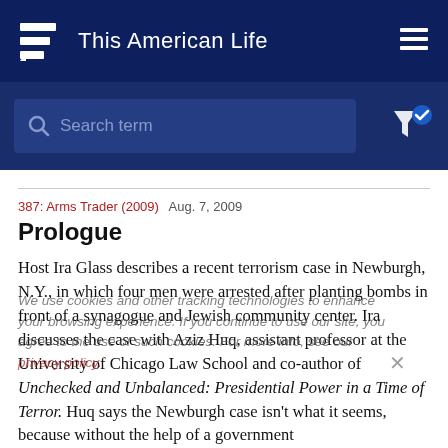This American Life
Search term
387: Arms Trader (2009)  Aug. 7, 2009
Prologue
Host Ira Glass describes a recent terrorism case in Newburgh, N.Y., in which four men were arrested after planting bombs in front of a synagogue and Jewish community center. Ira discusses the case with Aziz Huq, assistant professor at the University of Chicago Law School and co-author of Unchecked and Unbalanced: Presidential Power in a Time of Terror. Huq says the Newburgh case isn't what it seems, because without the help of a government
We use cookies and other tracking technologies to enhance your browsing experience. If you continue to use our site, you agree to the use of such cookies. For more info, see our privacy policy.